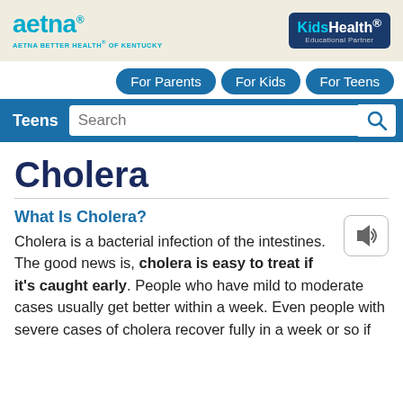[Figure (logo): Aetna logo with tagline AETNA BETTER HEALTH OF KENTUCKY and KidsHealth Educational Partner badge]
For Parents | For Kids | For Teens
Teens  Search
Cholera
What Is Cholera?
Cholera is a bacterial infection of the intestines. The good news is, cholera is easy to treat if it's caught early. People who have mild to moderate cases usually get better within a week. Even people with severe cases of cholera recover fully in a week or so if